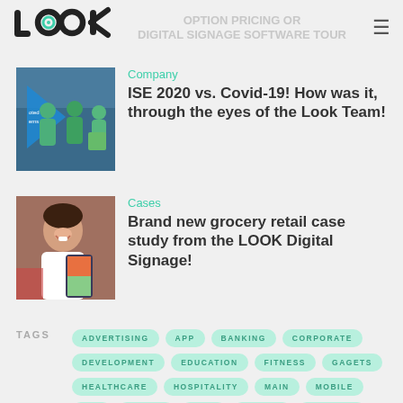[Figure (logo): LOOK digital signage logo — stylized text logo with camera/eye icon]
OPTION PRICING OR DIGITAL SIGNAGE SOFTWARE TOUR
[Figure (photo): Photo of people in green shirts at a trade show booth with a blue triangular banner]
Company
ISE 2020 vs. Covid-19! How was it, through the eyes of the Look Team!
[Figure (photo): Photo of a person laughing in front of a digital display]
Cases
Brand new grocery retail case study from the LOOK Digital Signage!
TAGS
ADVERTISING
APP
BANKING
CORPORATE
DEVELOPMENT
EDUCATION
FITNESS
GAGETS
HEALTHCARE
HOSPITALITY
MAIN
MOBILE
RSS
SOCIAL
TECH
TRAVEL
TUTORIAL
UPDATE
WHITE LABEL
WIDGET
RETAIL